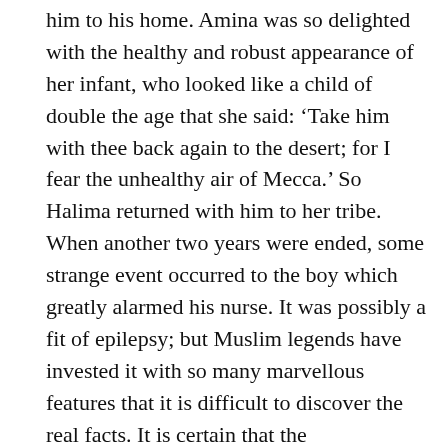him to his home. Amina was so delighted with the healthy and robust appearance of her infant, who looked like a child of double the age that she said: 'Take him with thee back again to the desert; for I fear the unhealthy air of Mecca.' So Halima returned with him to her tribe. When another two years were ended, some strange event occurred to the boy which greatly alarmed his nurse. It was possibly a fit of epilepsy; but Muslim legends have invested it with so many marvellous features that it is difficult to discover the real facts. It is certain that the apprehensions of Halima and her husband were aroused; for Arab superstition tended to regard the subject of such ailments as under the influence of an evil spirit. They resolved to rid their responsibility of their charge, and Halima carried the child back to its mother. With some difficulty, Amina obtained from